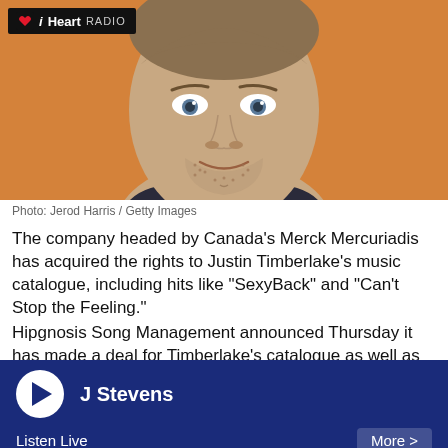[Figure (photo): Headshot of Justin Timberlake against an orange background, with iHeartRadio logo overlay in top-left corner]
Photo: Jerod Harris / Getty Images
The company headed by Canada's Merck Mercuriadis has acquired the rights to Justin Timberlake's music catalogue, including hits like “SexyBack” and “Can't Stop the Feeling.”
Hipgnosis Song Management announced Thursday it has made a deal for Timberlake's catalogue as well as his share of public performance income. The UK-based company will also have the worldwide administration rights to
[Figure (screenshot): iHeartRadio audio player bar at the bottom: play button, station name J Stevens, Listen Live label, More > button on dark navy background]